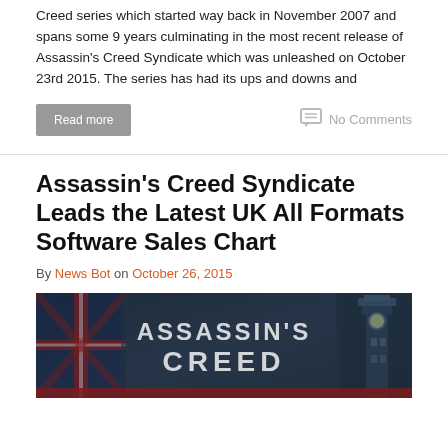Creed series which started way back in November 2007 and spans some 9 years culminating in the most recent release of Assassin's Creed Syndicate which was unleashed on October 23rd 2015. The series has had its ups and downs and
Read more
No Comments
Assassin's Creed Syndicate Leads the Latest UK All Formats Software Sales Chart
By News Bot on October 26, 2015
[Figure (photo): Assassin's Creed Syndicate game cover/banner image with Union Jack flag, Big Ben silhouette, and ASSASSIN'S CREED text in white letters on a dark atmospheric background]